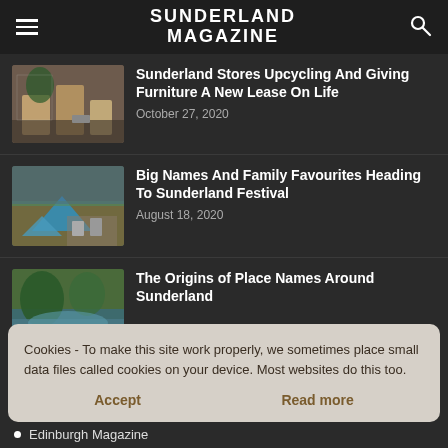SUNDERLAND MAGAZINE
Sunderland Stores Upcycling And Giving Furniture A New Lease On Life
October 27, 2020
[Figure (photo): Interior of a furniture/home store with people and wooden furniture]
Big Names And Family Favourites Heading To Sunderland Festival
August 18, 2020
[Figure (photo): Aerial view of an outdoor festival with blue tents and stalls]
The Origins of Place Names Around Sunderland
[Figure (photo): A scenic river or pond with trees and green foliage]
Cookies - To make this site work properly, we sometimes place small data files called cookies on your device. Most websites do this too.
Edinburgh Magazine